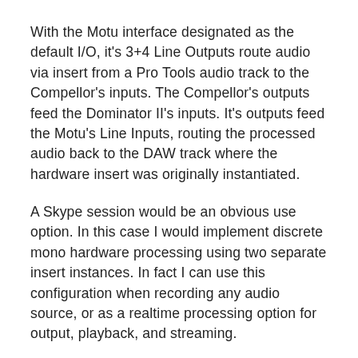With the Motu interface designated as the default I/O, it's 3+4 Line Outputs route audio via insert from a Pro Tools audio track to the Compellor's inputs. The Compellor's outputs feed the Dominator II's inputs. It's outputs feed the Motu's Line Inputs, routing the processed audio back to the DAW track where the hardware insert was originally instantiated.
A Skype session would be an obvious use option. In this case I would implement discrete mono hardware processing using two separate insert instances. In fact I can use this configuration when recording any audio source, or as a realtime processing option for output, playback, and streaming.